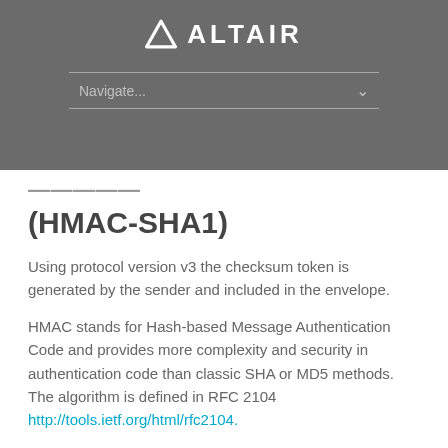[Figure (logo): Altair logo with triangle icon and ALTAIR text in white on grey background]
(HMAC-SHA1)
Using protocol version v3 the checksum token is generated by the sender and included in the envelope.
HMAC stands for Hash-based Message Authentication Code and provides more complexity and security in authentication code than classic SHA or MD5 methods. The algorithm is defined in RFC 2104 http://tools.ietf.org/html/rfc2104.